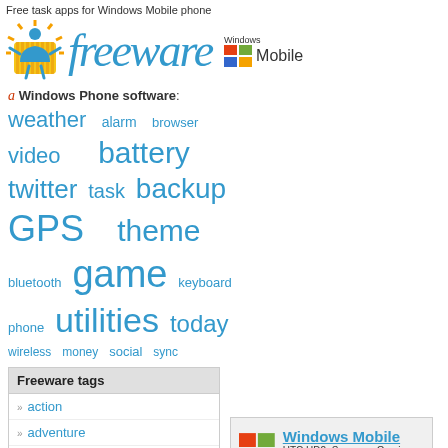Free task apps for Windows Mobile phone
[Figure (logo): Freeware logo with person icon, 'freeware' text, and Windows Mobile logo]
a Windows Phone software:
weather  alarm  browser  video  battery  twitter  task  backup  GPS  theme  bluetooth  game  keyboard  phone  utilities  today  wireless  money  social  sync
Freeware tags
action
adventure
accelerometer
arcade
astronomy
[Figure (logo): Windows Mobile logo with colorful flag icon, title 'Windows Mobile', subtitle 'HTC HD2, Samsung Omnia etc.']